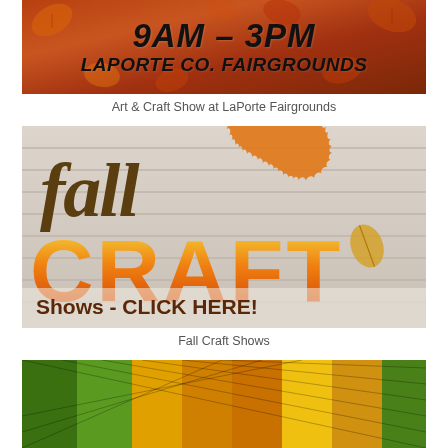[Figure (photo): Autumn harvest banner with orange maple leaf background showing '9AM - 3PM' and 'LAPORTE CO. FAIRGROUNDS' in bold black italic text]
Art & Craft Show at LaPorte Fairgrounds
[Figure (photo): Fall craft shows promotional banner with 'fall' in brown cursive, 'CRAFT' in large yellow-orange gradient letters, autumn maple leaf, and 'Shows - CLICK HERE!' text on white wood plank background]
Fall Craft Shows
[Figure (photo): Partial bottom image showing colorful netting or fencing in green, yellow and orange colors]